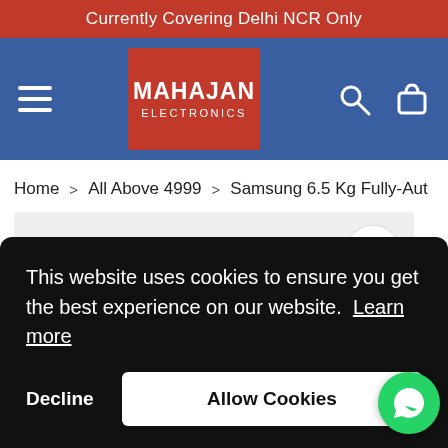Currently Covering Delhi NCR Only
[Figure (logo): Mahajan Electronics logo — white text on red background in blue navigation bar]
Home > All Above 4999 > Samsung 6.5 Kg Fully-Aut
[Figure (photo): Product image area (grey placeholder) with wishlist star icon button]
This website uses cookies to ensure you get the best experience on our website. Learn more
Decline
Allow Cookies